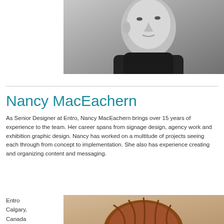[Figure (photo): Black and white portrait photo of a man wearing a black turtleneck, looking to the side]
Nancy MacEachern
As Senior Designer at Entro, Nancy MacEachern brings over 15 years of experience to the team. Her career spans from signage design, agency work and exhibition graphic design. Nancy has worked on a multitude of projects seeing each through from concept to implementation. She also has experience creating and organizing content and messaging.
Entro
Calgary,
Canada
[Figure (photo): Partial photo showing a person with red/auburn hair against a textured sandy background]